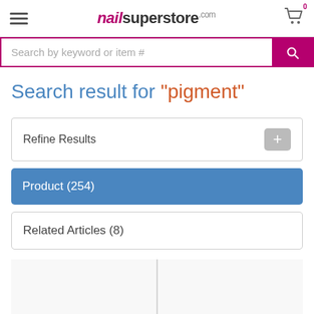[Figure (screenshot): nailsuperstore.com website header with hamburger menu, logo, and cart icon]
[Figure (screenshot): Search bar with placeholder 'Search by keyword or item #' and pink search button]
Search result for "pigment"
Refine Results
Product (254)
Related Articles (8)